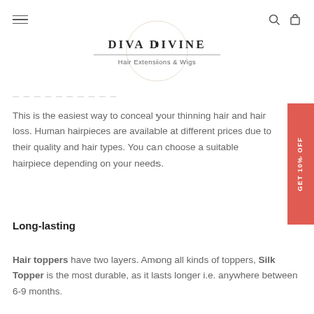Diva Divine Hair Extensions & Wigs — navigation header with hamburger menu, search, and cart icons
[Figure (logo): Diva Divine Hair Extensions & Wigs logo with circular monogram watermark behind the text]
— — — — — — — — — — — —
This is the easiest way to conceal your thinning hair and hair loss. Human hairpieces are available at different prices due to their quality and hair types. You can choose a suitable hairpiece depending on your needs.
Long-lasting
Hair toppers have two layers. Among all kinds of toppers, Silk Topper is the most durable, as it lasts longer i.e. anywhere between 6-9 months.